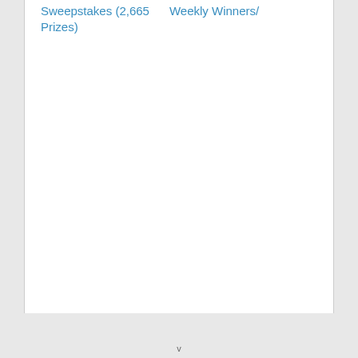Sweepstakes (2,665 Weekly Winners/ Prizes)